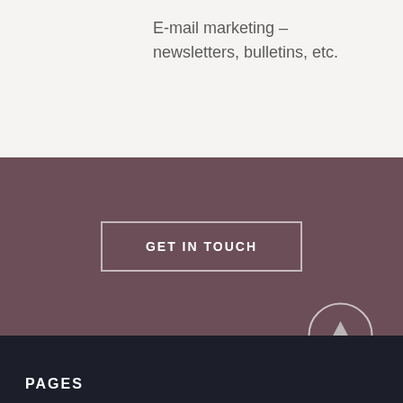E-mail marketing – newsletters, bulletins, etc.
GET IN TOUCH
[Figure (illustration): Up arrow inside a circle, used as a back-to-top button]
PAGES